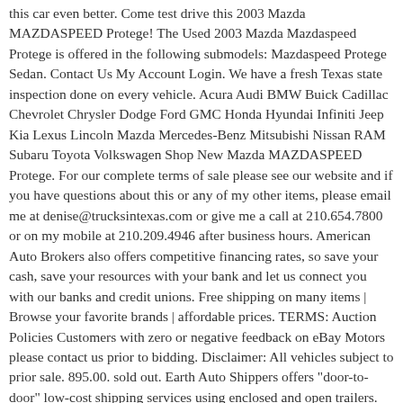this car even better. Come test drive this 2003 Mazda MAZDASPEED Protege! The Used 2003 Mazda Mazdaspeed Protege is offered in the following submodels: Mazdaspeed Protege Sedan. Contact Us My Account Login. We have a fresh Texas state inspection done on every vehicle. Acura Audi BMW Buick Cadillac Chevrolet Chrysler Dodge Ford GMC Honda Hyundai Infiniti Jeep Kia Lexus Lincoln Mazda Mercedes-Benz Mitsubishi Nissan RAM Subaru Toyota Volkswagen Shop New Mazda MAZDASPEED Protege. For our complete terms of sale please see our website and if you have questions about this or any of my other items, please email me at denise@trucksintexas.com or give me a call at 210.654.7800 or on my mobile at 210.209.4946 after business hours. American Auto Brokers also offers competitive financing rates, so save your cash, save your resources with your bank and let us connect you with our banks and credit unions. Free shipping on many items | Browse your favorite brands | affordable prices. TERMS: Auction Policies Customers with zero or negative feedback on eBay Motors please contact us prior to bidding. Disclaimer: All vehicles subject to prior sale. 895.00. sold out. Earth Auto Shippers offers "door-to-door" low-cost shipping services using enclosed and open trailers. 4.5 out of 5 stars ... All prices exclude government fees and taxes, any finance charges,